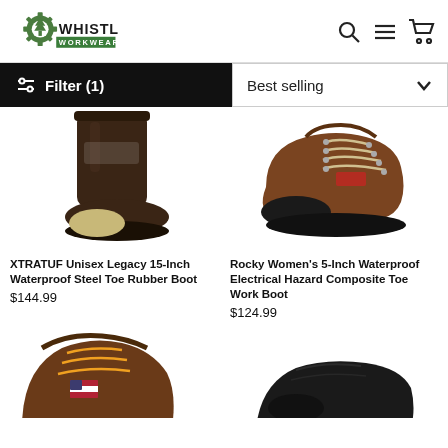[Figure (logo): Whistle Workwear logo with green gear/tree icon and text]
[Figure (infographic): Header icons: search, hamburger menu, shopping cart]
Filter (1)
Best selling
[Figure (photo): XTRATUF tall rubber boot, dark brown with tan composite toe]
XTRATUF Unisex Legacy 15-Inch Waterproof Steel Toe Rubber Boot
$144.99
[Figure (photo): Rocky Women's low hiking work boot, brown leather with black toe]
Rocky Women's 5-Inch Waterproof Electrical Hazard Composite Toe Work Boot
$124.99
[Figure (photo): Partial view of brown lace-up work boot with US flag patch]
[Figure (photo): Partial view of black dress/work shoe]